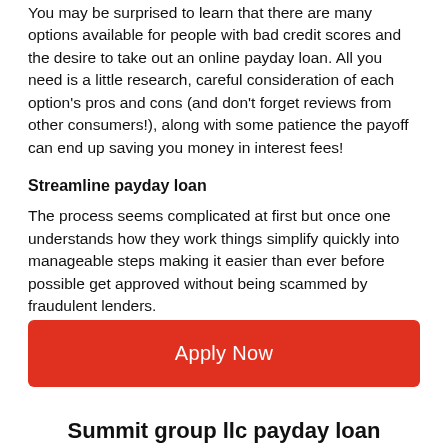You may be surprised to learn that there are many options available for people with bad credit scores and the desire to take out an online payday loan. All you need is a little research, careful consideration of each option's pros and cons (and don't forget reviews from other consumers!), along with some patience the payoff can end up saving you money in interest fees!
Streamline payday loan
The process seems complicated at first but once one understands how they work things simplify quickly into manageable steps making it easier than ever before possible get approved without being scammed by fraudulent lenders.
[Figure (other): Red 'Apply Now' button]
Summit group llc payday loan